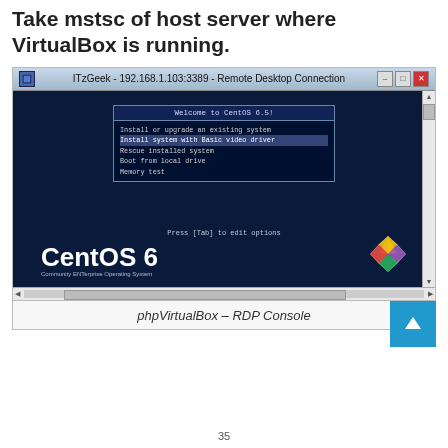Take mstsc of host server where VirtualBox is running.
[Figure (screenshot): Remote Desktop Connection window showing CentOS 6.5 boot menu with options: Install or upgrade an existing system, Install system with Basic video driver (highlighted), Rescue installed system, Boot from local drive, Memory test. CentOS 6 logo at bottom left with Community ENTerprise Operating System tagline. Title bar shows: ITzGeek - 192.168.1.103:3389 - Remote Desktop Connection]
phpVirtualBox – RDP Console
35